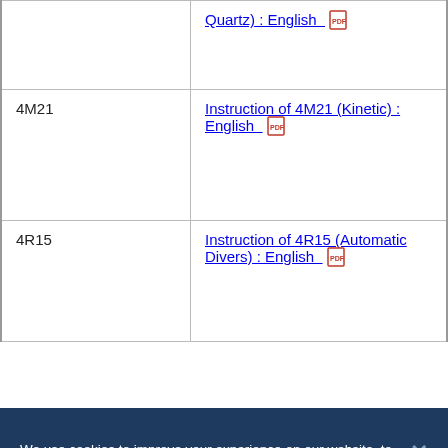| Model | Document |
| --- | --- |
|  | Quartz) : English [PDF] |
| 4M21 | Instruction of 4M21 (Kinetic) : English [PDF] |
| 4R15 | Instruction of 4R15 (Automatic Divers) : English [PDF] |
We use cookies to improve your experience on our website, to personalise content and ads, to provide social media features and to analyse our traffic. We share information about your use of our website with our social media, advertising and analytics partners, who may combine it with other information that you have provided to them or that they have collected from your use of their services. However, WE DO NOT SELL YOUR PERSONAL INFORMATION. Cookie Policy
Cookies Settings | OK